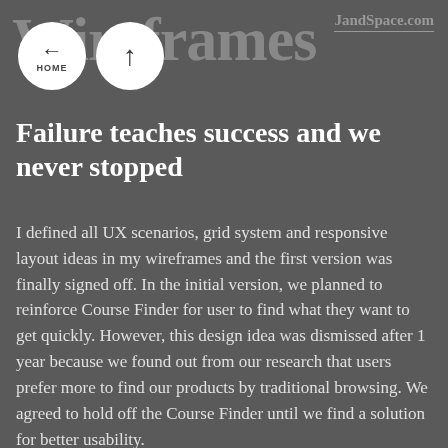Wireframes
JandSpace.com
Failure teaches success and we never stopped
I defined all UX scenarios, grid system and responsive layout ideas in my wireframes and the first version was finally signed off. In the initial version, we planned to reinforce Course Finder for user to find what they want to get quickly. However, this design idea was dismissed after 1 year because we found out from our research that users prefer more to find our products by traditional browsing. We agreed to hold off the Course Finder until we find a solution for better usability.